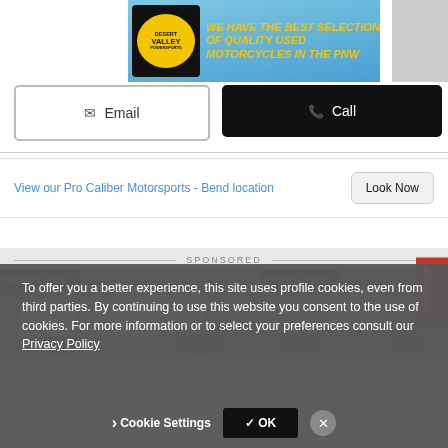[Figure (screenshot): Desert Valley Powersports advertisement banner with yellow text on blue sky background reading WE HAVE THE BEST SELECTION OF QUALITY USED MOTORCYCLES IN THE PNW]
[Figure (screenshot): Email and Call buttons for dealer contact]
View our Pro Caliber Motorsports - Bend location
[Figure (screenshot): Sponsored section with two motorcycle images showing adventure motorcycles with luggage cases, KTORN TWO branding visible]
To offer you a better experience, this site uses profile cookies, even from third parties. By continuing to use this website you consent to the use of cookies. For more information or to select your preferences consult our Privacy Policy
Cookie Settings
✓ OK